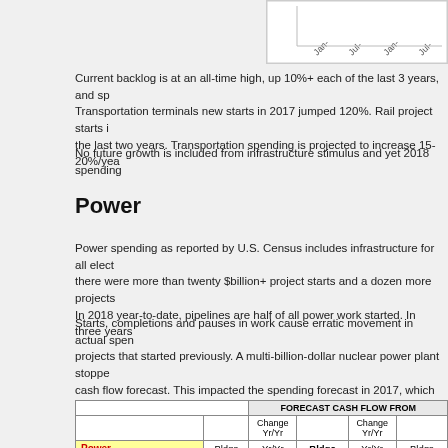[Figure (other): Partial chart stub showing rotated axis labels: Jan-?, Jul-?, Jan-?, Jul-?]
Current backlog is at an all-time high, up 10%+ each of the last 3 years, and sp... Transportation terminals new starts in 2017 jumped 120%. Rail project starts i... the last two years. Transportation spending is projected to increase 15-20%/yea...
No future growth is included from infrastructure stimulus and yet 2018 spending...
Power
Power spending as reported by U.S. Census includes infrastructure for all elect... there were more than twenty $billion+ project starts and a dozen more projects... In 2018 year-to-date, pipelines are half of all power work started. In three years...
Starts, completions and pauses in work cause erratic movement in actual spen... projects that started previously. A multi-billion-dollar nuclear power plant stoppe... cash flow forecast. This impacted the spending forecast in 2017, which finished... 2018 posted back in Nov. 2017.
|  |  |  |  | Change Yr/Yr |  | Change Yr/Yr | Bldgs |
| --- | --- | --- | --- | --- | --- | --- | --- |
| Power |  |  | Bldgs | Yr/Yr | Bldgs | Yr/Yr | Bldgs |
| $ in billions |  |  | 2017 |  | 2018 |  | 2019 |
| Backlog at Start of Year |  |  | 95,037 | 26.7% | 110,477 | 16.2% | 103,142 |